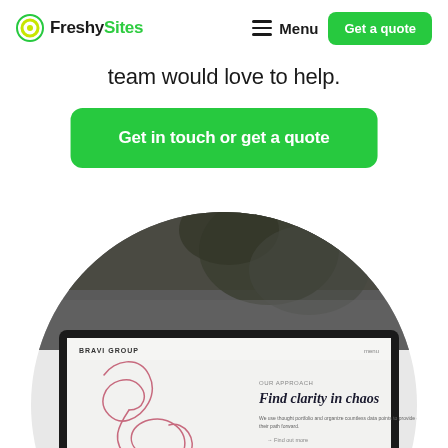FreshySites  Menu  Get a quote
team would love to help.
Get in touch or get a quote
[Figure (screenshot): A circular cropped screenshot showing a laptop displaying a website called 'BRAVI GROUP' with a headline 'Find clarity in chaos' and abstract pink line art, with a blurred natural background above.]